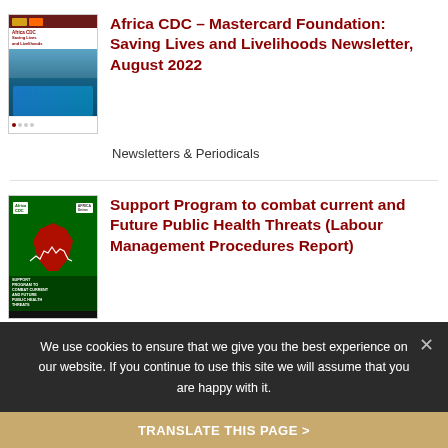[Figure (photo): Thumbnail of Africa CDC – Mastercard Foundation: Saving Lives and Livelihoods Newsletter cover showing people in blue protective gear]
Africa CDC – Mastercard Foundation: Saving Lives and Livelihoods Newsletter, August 2022
Newsletters & Periodicals
[Figure (photo): Thumbnail of green cover report: Support Program to combat current and Future Public Health Threats (Labour Management Procedures Report)]
Support Program to combat current and Future Public Health Threats (Labour Management Procedures Report)
We use cookies to ensure that we give you the best experience on our website. If you continue to use this site we will assume that you are happy with it.
TRANSLATE THIS PAGE >